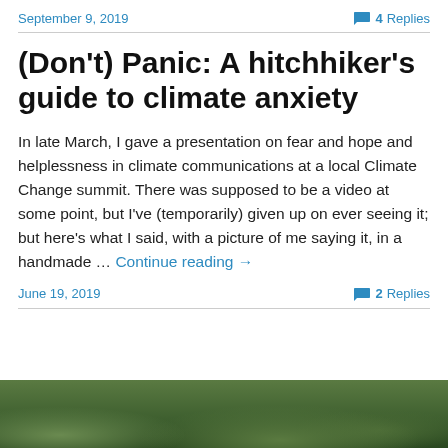September 9, 2019 | 4 Replies
(Don't) Panic: A hitchhiker's guide to climate anxiety
In late March, I gave a presentation on fear and hope and helplessness in climate communications at a local Climate Change summit. There was supposed to be a video at some point, but I've (temporarily) given up on ever seeing it; but here's what I said, with a picture of me saying it, in a handmade … Continue reading →
June 19, 2019 | 2 Replies
[Figure (photo): Bottom portion of a photograph showing green foliage or vegetation with bokeh effect]